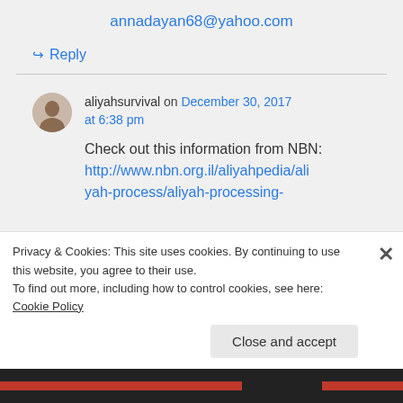annadayan68@yahoo.com
↪ Reply
aliyahsurvival on December 30, 2017 at 6:38 pm
Check out this information from NBN:
http://www.nbn.org.il/aliyahpedia/aliyah-process/aliyah-processing-
Privacy & Cookies: This site uses cookies. By continuing to use this website, you agree to their use. To find out more, including how to control cookies, see here: Cookie Policy
Close and accept